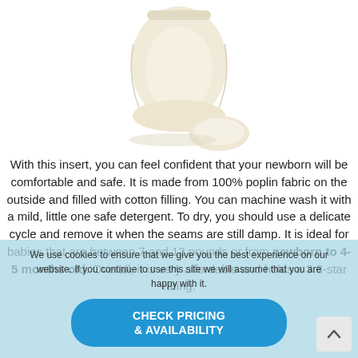[Figure (photo): Product photo of a cream/white colored baby insert (newborn insert for a carrier or bouncer), showing a padded seat-like shape with a separate cushion piece, photographed on a white background.]
With this insert, you can feel confident that your newborn will be comfortable and safe. It is made from 100% poplin fabric on the outside and filled with cotton filling. You can machine wash it with a mild, little one safe detergent. To dry, you should use a delicate cycle and remove it when the seams are still damp. It is ideal for babies that are between 7 and 12 pounds or from newborn to 4-5 months old. Overall, it is very affordable and holds a 3.8-star rating.
We use cookies to ensure that we give you the best experience on our website. If you continue to use this site we will assume that you are happy with it.
CHECK PRICING & AVAILABILITY